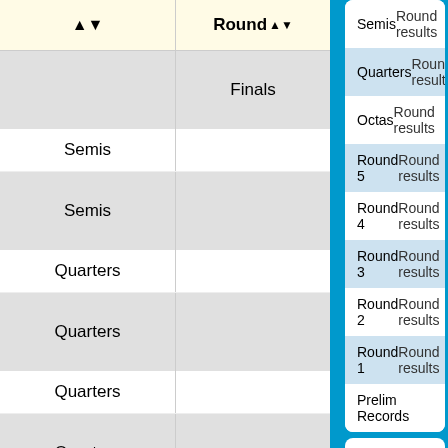|  | Round |
| --- | --- |
|  | Finals |
| Semis |  |
| Semis |  |
| Quarters |  |
| Quarters |  |
| Quarters |  |
| Quarters |  |
| Octas |  |
| Octas |  |
| Octas |  |
| Round |  |
| --- | --- |
| Semis | Round results |
| Quarters | Round results |
| Octas | Round results |
| Round 5 | Round results |
| Round 4 | Round results |
| Round 3 | Round results |
| Round 2 | Round results |
| Round 1 | Round results |
| Prelim Records |  |
Tournament-Wide
Tiebreakers
You can hover your mouse over the title of a